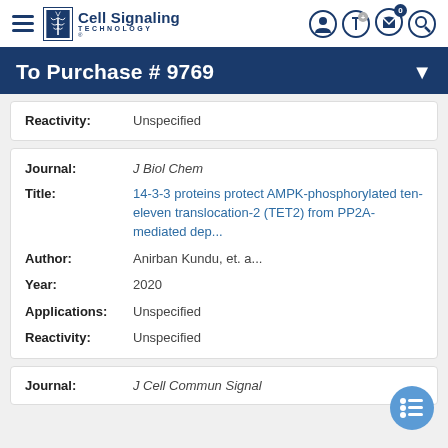Cell Signaling Technology
To Purchase # 9769
| Field | Value |
| --- | --- |
| Reactivity: | Unspecified |
| Field | Value |
| --- | --- |
| Journal: | J Biol Chem |
| Title: | 14-3-3 proteins protect AMPK-phosphorylated ten-eleven translocation-2 (TET2) from PP2A-mediated dep... |
| Author: | Anirban Kundu, et. a... |
| Year: | 2020 |
| Applications: | Unspecified |
| Reactivity: | Unspecified |
| Field | Value |
| --- | --- |
| Journal: | J Cell Commun Signal |